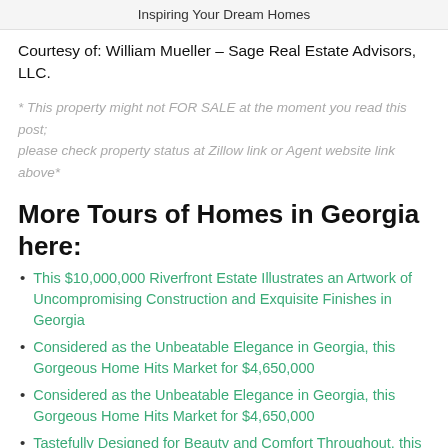Inspiring Your Dream Homes
Courtesy of: William Mueller – Sage Real Estate Advisors, LLC.
* This property might not FOR SALE at the moment you read this post; please check property status at Zillow link or Agent website link above*
More Tours of Homes in Georgia here:
This $10,000,000 Riverfront Estate Illustrates an Artwork of Uncompromising Construction and Exquisite Finishes in Georgia
Considered as the Unbeatable Elegance in Georgia, this Gorgeous Home Hits Market for $4,650,000
Considered as the Unbeatable Elegance in Georgia, this Gorgeous Home Hits Market for $4,650,000
Tastefully Designed for Beauty and Comfort Throughout, this Gorgeous Home in Georgia Listed at